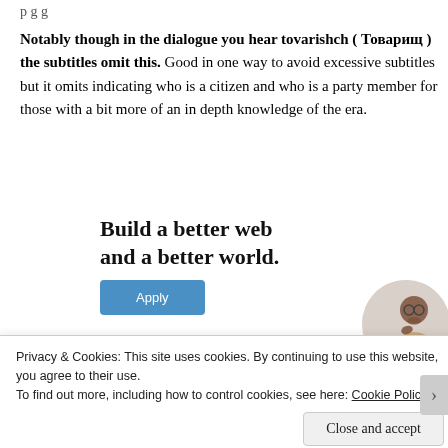p g g
Notably though in the dialogue you hear tovarishch ( Товарищ ) the subtitles omit this. Good in one way to avoid excessive subtitles but it omits indicating who is a citizen and who is a party member for those with a bit more of an in depth knowledge of the era.
[Figure (infographic): Advertisement banner showing 'Build a better web and a better world.' with an Apply button and an image of a person thinking]
Privacy & Cookies: This site uses cookies. By continuing to use this website, you agree to their use.
To find out more, including how to control cookies, see here: Cookie Policy
Close and accept